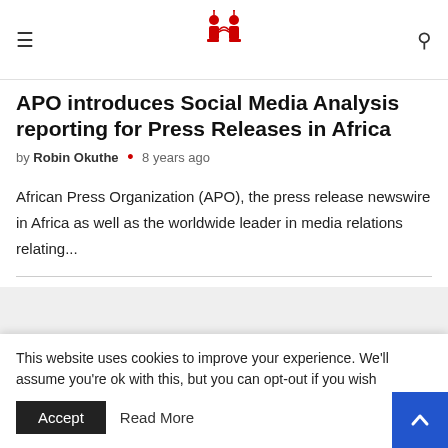[Logo: APO Group icon] [hamburger menu] [search icon]
APO introduces Social Media Analysis reporting for Press Releases in Africa
by Robin Okuthe · 8 years ago
African Press Organization (APO), the press release newswire in Africa as well as the worldwide leader in media relations relating...
[Figure (other): Advertisement / placeholder block (gray background)]
This website uses cookies to improve your experience. We'll assume you're ok with this, but you can opt-out if you wish. Accept  Read More